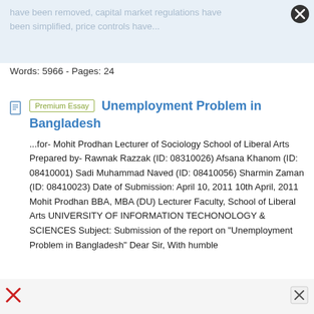have been removed, capital market regulations have been simplified, price controls have...
Words: 5966 - Pages: 24
Unemployment Problem in Bangladesh
...for- Mohit Prodhan Lecturer of Sociology School of Liberal Arts Prepared by- Rawnak Razzak (ID: 08310026) Afsana Khanom (ID: 08410001) Sadi Muhammad Naved (ID: 08410056) Sharmin Zaman (ID: 08410023) Date of Submission: April 10, 2011 10th April, 2011 Mohit Prodhan BBA, MBA (DU) Lecturer Faculty, School of Liberal Arts UNIVERSITY OF INFORMATION TECHONOLOGY & SCIENCES Subject: Submission of the report on "Unemployment Problem in Bangladesh" Dear Sir, With humble